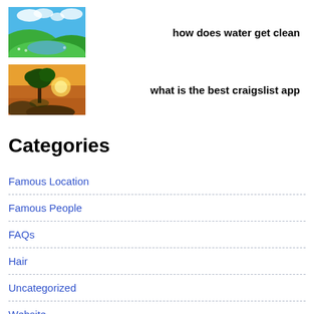[Figure (photo): Landscape thumbnail showing green hills, water, and blue sky with clouds]
how does water get clean
[Figure (photo): Landscape thumbnail showing a tree silhouette by water at sunset]
what is the best craigslist app
Categories
Famous Location
Famous People
FAQs
Hair
Uncategorized
Website